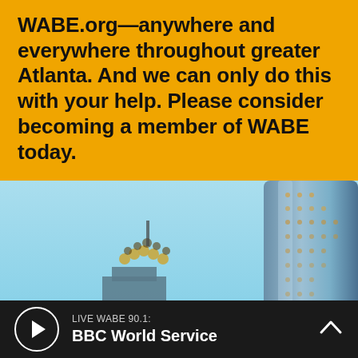WABE.org—anywhere and everywhere throughout greater Atlanta. And we can only do this with your help. Please consider becoming a member of WABE today.
[Figure (photo): A photograph showing the Atlanta skyline against a light blue sky, featuring the top of the Bank of America Plaza (or similar skyscraper with crown decorations) and a tall cylindrical modern glass/metal tower on the right side.]
LIVE WABE 90.1: BBC World Service